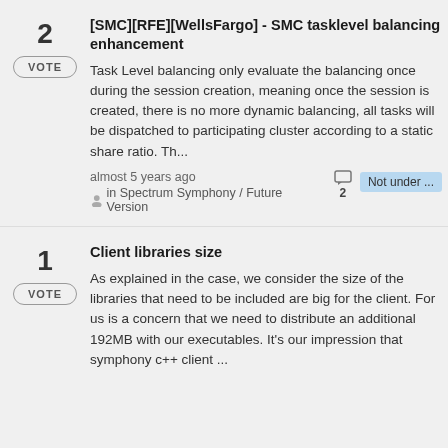2 VOTE [SMC][RFE][WellsFargo] - SMC tasklevel balancing enhancement
Task Level balancing only evaluate the balancing once during the session creation, meaning once the session is created, there is no more dynamic balancing, all tasks will be dispatched to participating cluster according to a static share ratio. Th...
almost 5 years ago in Spectrum Symphony / Future Version  2  Not under ...
1 VOTE Client libraries size
As explained in the case, we consider the size of the libraries that need to be included are big for the client. For us is a concern that we need to distribute an additional 192MB with our executables. It's our impression that symphony c++ client ...